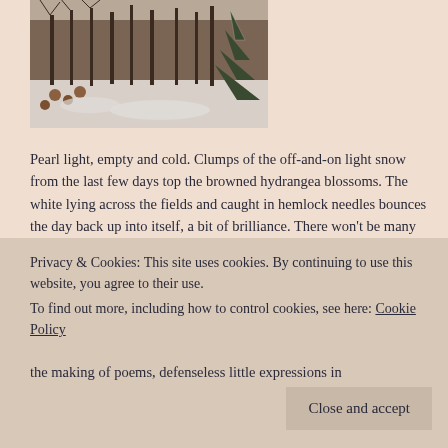[Figure (photo): Winter landscape photo showing snow-covered ground, bare trees in background, and an evergreen tree on the right side. Some dried hydrangea blossoms visible in the lower left.]
Pearl light, empty and cold.  Clumps of the off-and-on light snow from the last few days top the browned hydrangea blossoms.  The white lying across the fields and caught in hemlock needles bounces the day back up into itself, a bit of brilliance.  There won't be many hours of light today, but at least what there is will be reflecting...
Privacy & Cookies: This site uses cookies. By continuing to use this website, you agree to their use.
To find out more, including how to control cookies, see here: Cookie Policy
Close and accept
the making of poems, defenseless little expressions in